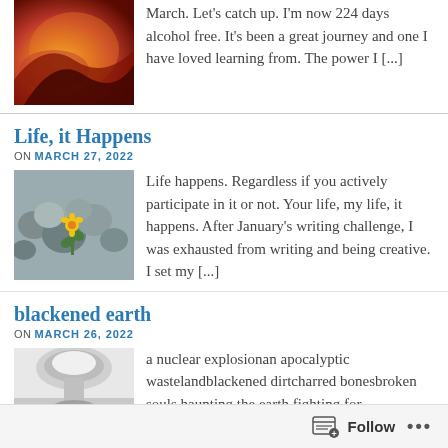[Figure (photo): Fiery orange and red lava/fire image thumbnail]
March. Let's catch up. I'm now 224 days alcohol free. It's been a great journey and one I have loved learning from. The power I [...]
Life, it Happens
ON MARCH 27, 2022
[Figure (photo): Rocks with a small yellow flower growing through them]
Life happens. Regardless if you actively participate in it or not. Your life, my life, it happens. After January's writing challenge, I was exhausted from writing and being creative. I set my [...]
blackened earth
ON MARCH 26, 2022
[Figure (photo): Black and white photo of a nuclear explosion mushroom cloud]
a nuclear explosionan apocalyptic wastelandblackened dirtcharred bonesbroken souls haunting the earth fighting for freedomnearly won the waruntil
Follow ...